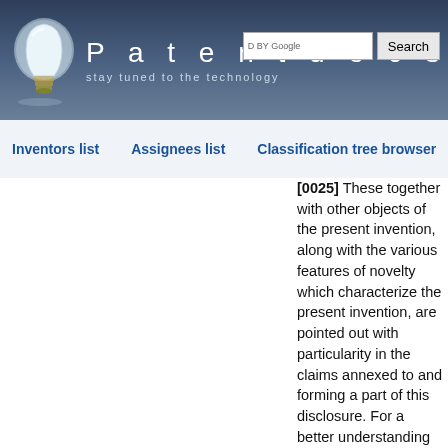[Figure (logo): Patentdocs website header with light bulb logo, brand name 'Patentdocs', tagline 'stay tuned to the technology', and Google search box with Search button]
Inventors list | Assignees list | Classification tree browser
[0025] These together with other objects of the present invention, along with the various features of novelty which characterize the present invention, are pointed out with particularity in the claims annexed to and forming a part of this disclosure. For a better understanding of the present invention, its operating advantages and the specific objects attained by its uses, reference should be had to the accompanying drawings and descriptive matter in which there is illustrated a preferred embodiment of the present invention.